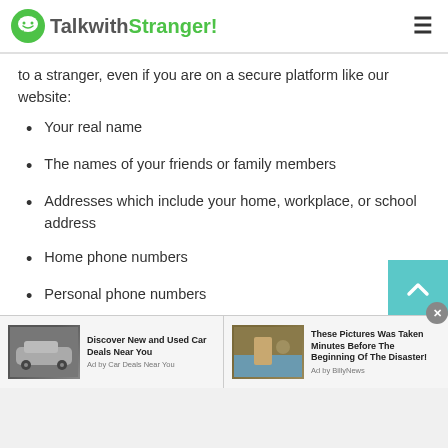TalkwithStranger!
to a stranger, even if you are on a secure platform like our website:
Your real name
The names of your friends or family members
Addresses which include your home, workplace, or school address
Home phone numbers
Personal phone numbers